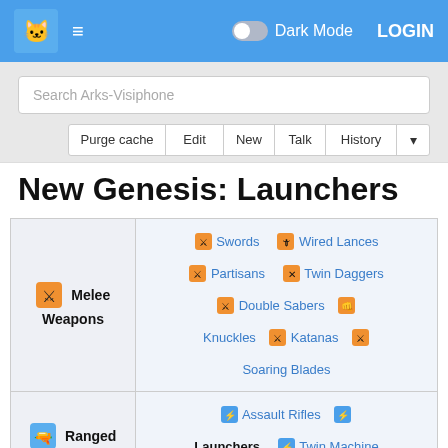Dark Mode LOGIN
Search Arks-Visiphone
Purge cache | Edit | New | Talk | History
New Genesis: Launchers
| Category | Weapons |
| --- | --- |
| Melee Weapons | Swords  Wired Lances  Partisans  Twin Daggers  Double Sabers  Knuckles  Katanas  Soaring Blades |
| Ranged Weapons | Assault Rifles  Launchers  Twin Machine Guns  Bows |